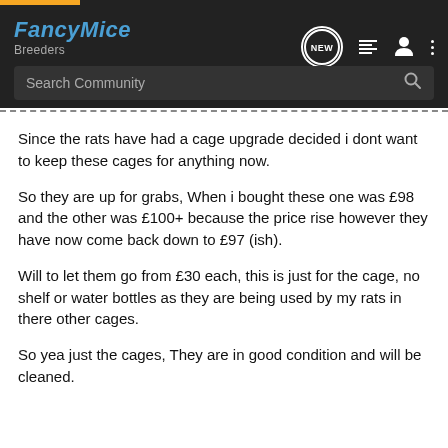FancyMice Breeders — navigation header with search bar
Since the rats have had a cage upgrade decided i dont want to keep these cages for anything now.
So they are up for grabs, When i bought these one was £98 and the other was £100+ because the price rise however they have now come back down to £97 (ish).
Will to let them go from £30 each, this is just for the cage, no shelf or water bottles as they are being used by my rats in there other cages.
So yea just the cages, They are in good condition and will be cleaned.